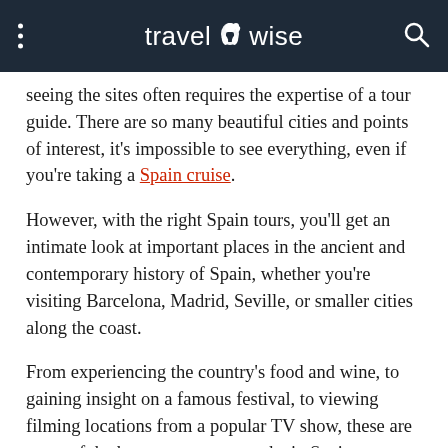travelwise
seeing the sites often requires the expertise of a tour guide. There are so many beautiful cities and points of interest, it's impossible to see everything, even if you're taking a Spain cruise.
However, with the right Spain tours, you'll get an intimate look at important places in the ancient and contemporary history of Spain, whether you're visiting Barcelona, Madrid, Seville, or smaller cities along the coast.
From experiencing the country's food and wine, to gaining insight on a famous festival, to viewing filming locations from a popular TV show, these are some of the best tours you can take in Spain.
ADVERTISEMENT